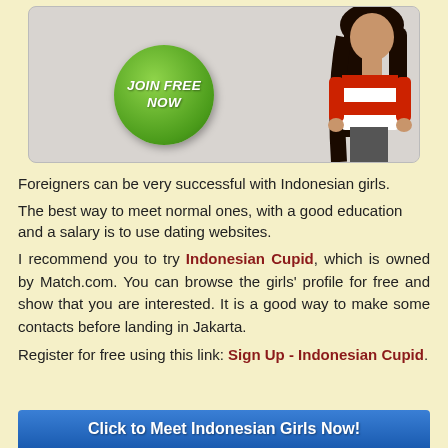[Figure (illustration): Advertisement banner with green 'JOIN FREE NOW' button and a girl in red outfit on grey background]
Foreigners can be very successful with Indonesian girls.
The best way to meet normal ones, with a good education and a salary is to use dating websites.
I recommend you to try Indonesian Cupid, which is owned by Match.com. You can browse the girls' profile for free and show that you are interested. It is a good way to make some contacts before landing in Jakarta.
Register for free using this link: Sign Up - Indonesian Cupid.
[Figure (illustration): Blue button with text 'Click to Meet Indonesian Girls Now!']